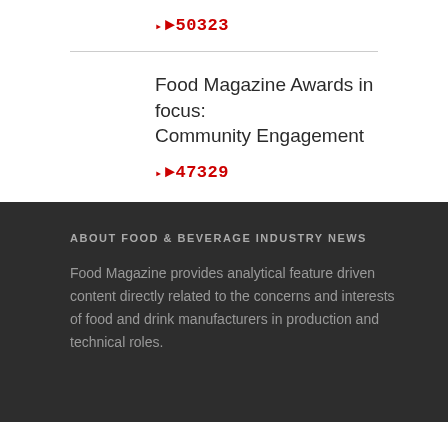▸50323
Food Magazine Awards in focus: Community Engagement
▸47329
ABOUT FOOD & BEVERAGE INDUSTRY NEWS
Food Magazine provides analytical feature driven content directly related to the concerns and interests of food and drink manufacturers in production and technical roles.